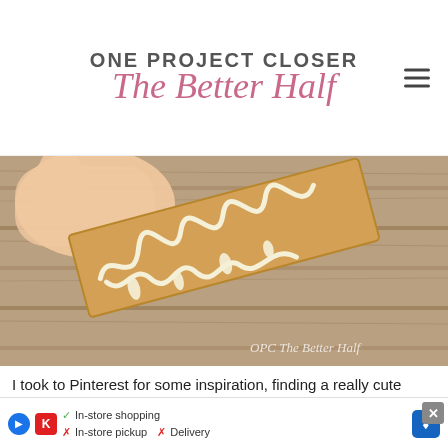ONE PROJECT CLOSER The Better Half
[Figure (photo): A hand holding a wooden plank with white caulk or glue drizzled across it in a decorative zigzag pattern, resting against weathered wood planks. Watermark reads 'OPC The Better Half'.]
I took to Pinterest for some inspiration, finding a really cute subway [tile design] ... here" — it was in[spiring]